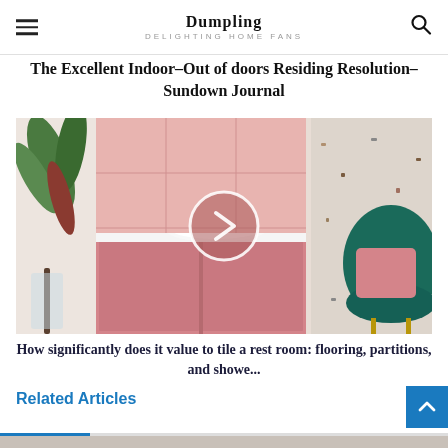Dumpling DELIGHTING HOME FANS
The Excellent Indoor–Out of doors Residing Resolution– Sundown Journal
[Figure (photo): Bathroom interior with pink vanity cabinet, terrazzo tiles, a white sink, dark faucet, green plant, and a teal velvet chair with a play/next button overlay in the center]
How significantly does it value to tile a rest room: flooring, partitions, and showe...
Related Articles